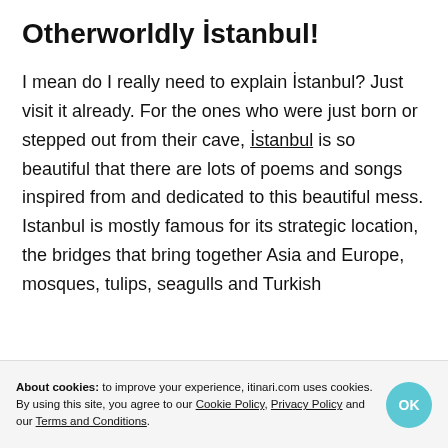Otherworldly İstanbul!
I mean do I really need to explain İstanbul? Just visit it already. For the ones who were just born or stepped out from their cave, İstanbul is so beautiful that there are lots of poems and songs inspired from and dedicated to this beautiful mess. Istanbul is mostly famous for its strategic location, the bridges that bring together Asia and Europe, mosques, tulips, seagulls and Turkish
About cookies: to improve your experience, itinari.com uses cookies. By using this site, you agree to our Cookie Policy, Privacy Policy and our Terms and Conditions.